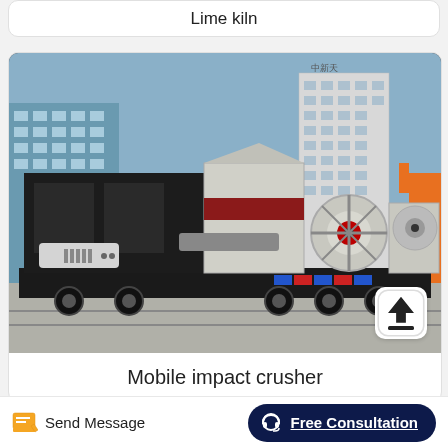Lime kiln
[Figure (photo): A large mobile impact crusher machine mounted on a flatbed trailer, photographed outdoors near industrial buildings. The machine is predominantly black with white and red components including a crusher unit and belt. A tall white high-rise building and orange crane are visible in the background.]
Mobile impact crusher
Send Message
Free Consultation